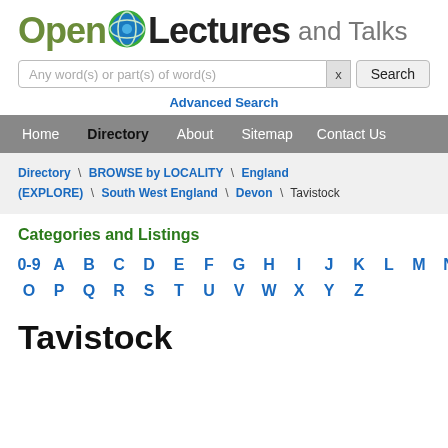[Figure (logo): Open Lectures and Talks logo with globe icon]
Any word(s) or part(s) of word(s)   x   Search
Advanced Search
Home  Directory  About  Sitemap  Contact Us
Directory \ BROWSE by LOCALITY \ England (EXPLORE) \ South West England \ Devon \ Tavistock
Categories and Listings
0-9  A  B  C  D  E  F  G  H  I  J  K  L  M  N  O  P  Q  R  S  T  U  V  W  X  Y  Z
Tavistock